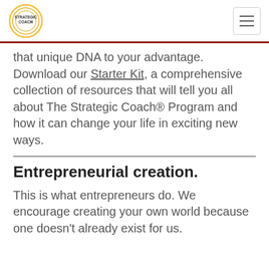STRATEGIC COACH®
that unique DNA to your advantage. Download our Starter Kit, a comprehensive collection of resources that will tell you all about The Strategic Coach® Program and how it can change your life in exciting new ways.
Entrepreneurial creation.
This is what entrepreneurs do. We encourage creating your own world because one doesn't already exist for us.